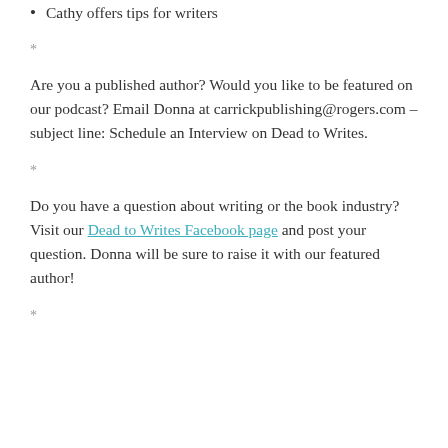Cathy offers tips for writers
*
Are you a published author? Would you like to be featured on our podcast? Email Donna at carrickpublishing@rogers.com – subject line: Schedule an Interview on Dead to Writes.
*
Do you have a question about writing or the book industry? Visit our Dead to Writes Facebook page and post your question. Donna will be sure to raise it with our featured author!
*